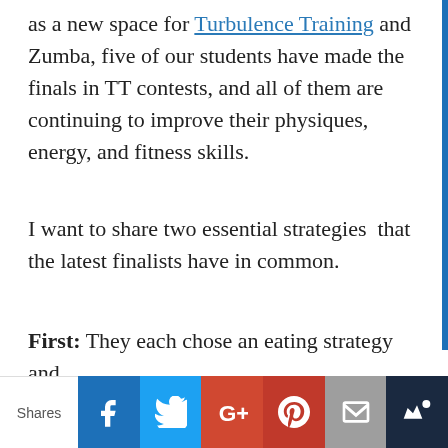as a new space for Turbulence Training and Zumba, five of our students have made the finals in TT contests, and all of them are continuing to improve their physiques, energy, and fitness skills.
I want to share two essential strategies  that the latest finalists have in common.
First: They each chose an eating strategy and
Shares | Facebook | Twitter | Google+ | Pinterest | Email | Crown